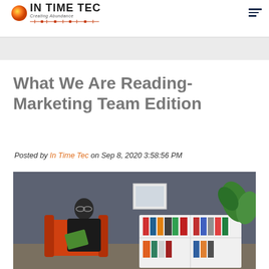In Time Tec - Creating Abundance
What We Are Reading- Marketing Team Edition
Posted by In Time Tec on Sep 8, 2020 3:58:56 PM
[Figure (photo): A man wearing glasses and a black shirt sits in an orange chair reading a book. Behind him is a white bookshelf with colorful books and a plant.]